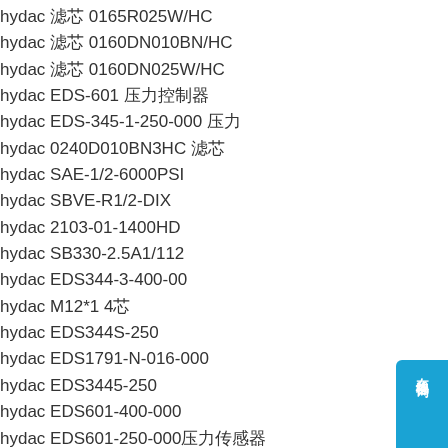hydac 滤芯 0165R025W/HC
hydac 滤芯 0160DN010BN/HC
hydac 滤芯 0160DN025W/HC
hydac EDS-601 压力控制器
hydac EDS-345-1-250-000 压力
hydac 0240D010BN3HC 滤芯
hydac SAE-1/2-6000PSI
hydac SBVE-R1/2-DIX
hydac 2103-01-1400HD
hydac SB330-2.5A1/112
hydac EDS344-3-400-00
hydac M12*1 4芯
hydac EDS344S-250
hydac EDS1791-N-016-000
hydac EDS3445-250
hydac EDS601-400-000
hydac EDS601-250-000压力传感器
hydac 0030D010BH3HC 滤芯
hydac 0140D010BH3HC